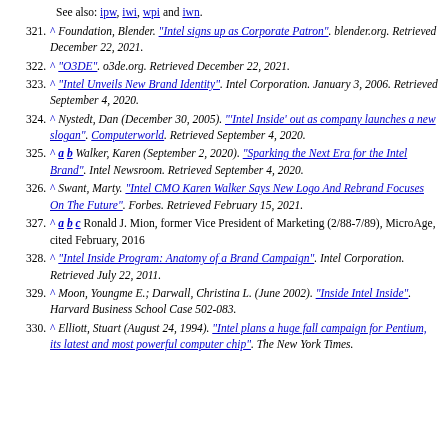See also: ipw, iwi, wpi and iwn.
321. ^ Foundation, Blender. "Intel signs up as Corporate Patron". blender.org. Retrieved December 22, 2021.
322. ^ "O3DE". o3de.org. Retrieved December 22, 2021.
323. ^ "Intel Unveils New Brand Identity". Intel Corporation. January 3, 2006. Retrieved September 4, 2020.
324. ^ Nystedt, Dan (December 30, 2005). "'Intel Inside' out as company launches a new slogan". Computerworld. Retrieved September 4, 2020.
325. ^ a b Walker, Karen (September 2, 2020). "Sparking the Next Era for the Intel Brand". Intel Newsroom. Retrieved September 4, 2020.
326. ^ Swant, Marty. "Intel CMO Karen Walker Says New Logo And Rebrand Focuses On The Future". Forbes. Retrieved February 15, 2021.
327. ^ a b c Ronald J. Mion, former Vice President of Marketing (2/88-7/89), MicroAge, cited February, 2016
328. ^ "Intel Inside Program: Anatomy of a Brand Campaign". Intel Corporation. Retrieved July 22, 2011.
329. ^ Moon, Youngme E.; Darwall, Christina L. (June 2002). "Inside Intel Inside". Harvard Business School Case 502-083.
330. ^ Elliott, Stuart (August 24, 1994). "Intel plans a huge fall campaign for Pentium, its latest and most powerful computer chip". The New York Times.